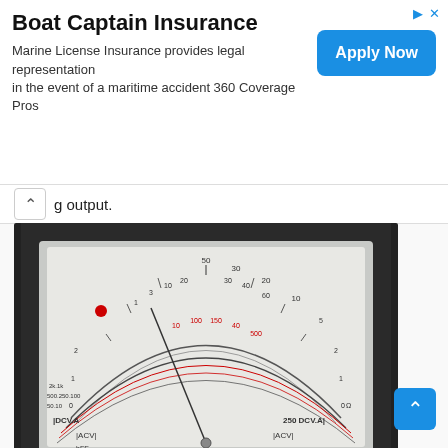[Figure (other): Advertisement banner: Boat Captain Insurance — Marine License Insurance provides legal representation in the event of a maritime accident 360 Coverage Pros, with Apply Now button]
g output.
[Figure (photo): Photo of a Sunwa/Sanwa analog multimeter, model YX-960TR, CT Brand, showing the analog display face with multiple measurement scales (resistance, DCV, ACV, dB, hFE, LV, BATT).]
sanwa multimeter